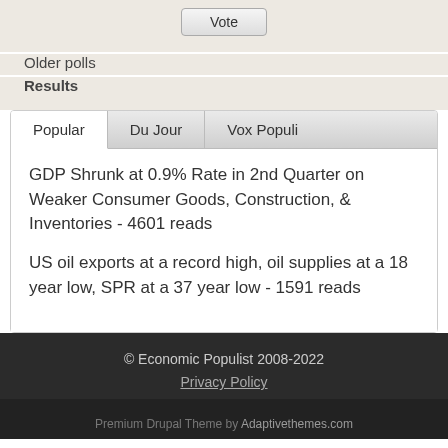Vote
Older polls
Results
Popular | Du Jour | Vox Populi
GDP Shrunk at 0.9% Rate in 2nd Quarter on Weaker Consumer Goods, Construction, & Inventories - 4601 reads
US oil exports at a record high, oil supplies at a 18 year low, SPR at a 37 year low - 1591 reads
© Economic Populist 2008-2022
Privacy Policy
Premium Drupal Theme by Adaptivethemes.com